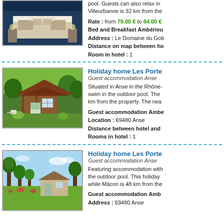[Figure (photo): Hotel bedroom with white bedding and blue ambient lighting]
pool. Guests can also relax in... Villeurbanne is 32 km from the...
Rate : from 79.00 € to 84.00 €
Bed and Breakfast Ambérieu...
Address : Le Domaine du Gob...
Distance on map between ho...
Room in hotel : 1
[Figure (photo): Small wooden holiday cottage surrounded by lush garden]
Holiday home Les Porte...
Guest accommodation Anse
Situated in Anse in the Rhône-... swim in the outdoor pool. The ... km from the property. The nea...
Guest accommodation Ambe...
Location : 69480 Anse
Distance between hotel and ...
Rooms in hotel : 1
[Figure (photo): Holiday home with manicured garden trees and blue sky]
Holiday home Les Porte...
Guest accommodation Anse
Featuring accommodation with... the outdoor pool. This holiday ... while Mâcon is 48 km from the...
Guest accommodation Amb...
Address : 69480 Anse